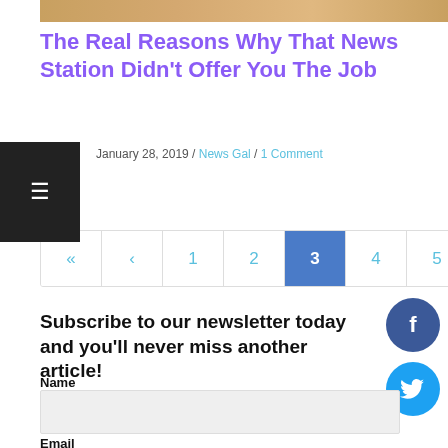[Figure (photo): Cropped top image strip of a person's face]
The Real Reasons Why That News Station Didn't Offer You The Job
January 28, 2019 / News Gal / 1 Comment
Pagination: « ‹ 1 2 3 4 5 › »
Subscribe to our newsletter today and you'll never miss another article!
Name
Email